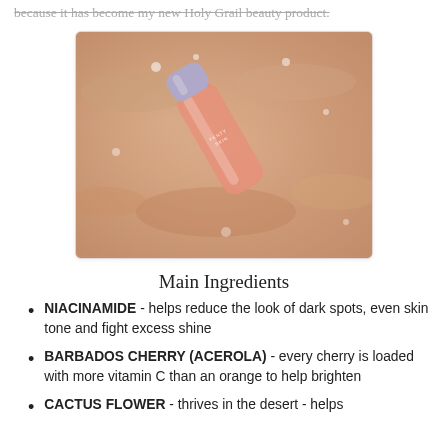because it has become my new Holy Grail beauty product.
[Figure (photo): A bottle of Fenty Skin product with a lavender cap lying in shallow water with a peach/sandy background. The bottle is pink/orange tinted glass with 'FENTY SKIN' text on it.]
Main Ingredients
NIACINAMIDE - helps reduce the look of dark spots, even skin tone and fight excess shine
BARBADOS CHERRY (ACEROLA) - every cherry is loaded with more vitamin C than an orange to help brighten
CACTUS FLOWER - thrives in the desert - helps